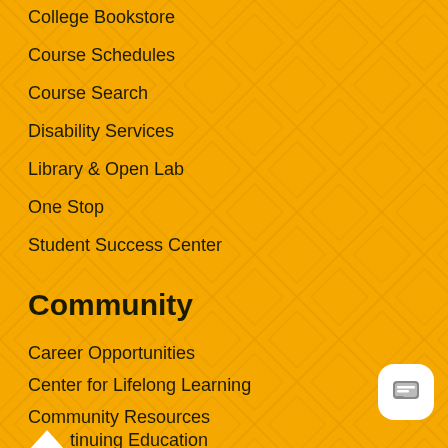College Bookstore
Course Schedules
Course Search
Disability Services
Library & Open Lab
One Stop
Student Success Center
Community
Career Opportunities
Center for Lifelong Learning
Community Resources
Continuing Education
Cosmetology Salon Services